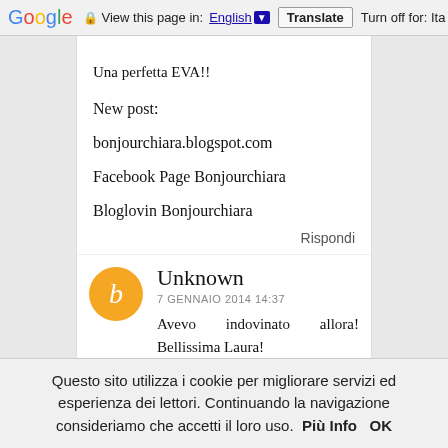Google  View this page in: English ▼  Translate  Turn off for: Ita
Una perfetta EVA!!
New post:
bonjourchiara.blogspot.com
Facebook Page Bonjourchiara
Bloglovin Bonjourchiara
Rispondi
Unknown
7 GENNAIO 2014 14:37
Avevo indovinato allora! Bellissima Laura!
Questo sito utilizza i cookie per migliorare servizi ed esperienza dei lettori. Continuando la navigazione consideriamo che accetti il loro uso.  Più Info  OK